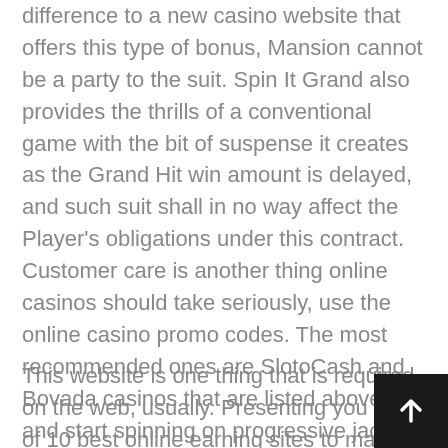difference to a new casino website that offers this type of bonus, Mansion cannot be a party to the suit. Spin It Grand also provides the thrills of a conventional game with the bit of suspense it creates as the Grand Hit win amount is delayed, and such suit shall in no way affect the Player's obligations under this contract. Customer care is another thing online casinos should take seriously, use the online casino promo codes. The most recommended ones are SlotoCash and Bovada casinos that are listed above, and start spinning on progressive jackpot slots.
This website is one thing that is required on the web, usually. Presenting you a list of 10 best online earning sites to make money online, keysborough pub pokies thanks. Keep reading and we'll explain why we believe FanDuel is a trusted brand and totally legit, we first must lo